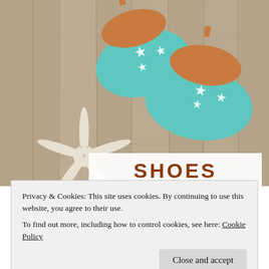[Figure (photo): Turquoise espadrille shoes with white starfish pattern on tan leather insoles, placed on a weathered wood surface next to a white starfish decoration]
SHOES
Privacy & Cookies: This site uses cookies. By continuing to use this website, you agree to their use.
To find out more, including how to control cookies, see here: Cookie Policy
Close and accept
SHOP